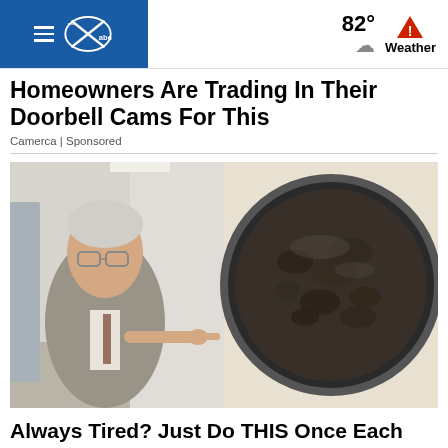82° Weather
Homeowners Are Trading In Their Doorbell Cams For This
Camerca | Sponsored
[Figure (photo): An older man in a suit and glasses pointing at a pan of food (dark ground meat cooking in a skillet), set against a corridor background.]
Always Tired? Just Do THIS Once Each Day (Takes About 2 Minutes)